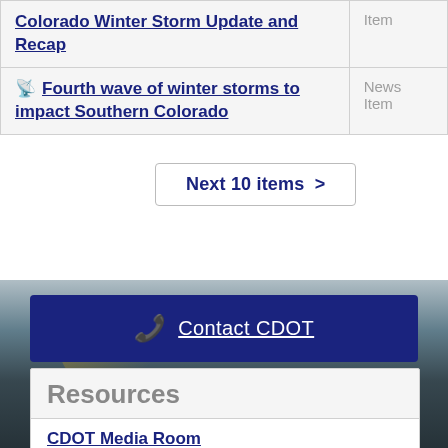| Title | Type |
| --- | --- |
| Colorado Winter Storm Update and Recap | Item |
| Fourth wave of winter storms to impact Southern Colorado | News Item |
Next 10 items >
[Figure (photo): Background photo of a highway at night with light trails, mountains visible]
Contact CDOT
Resources
CDOT Media Room